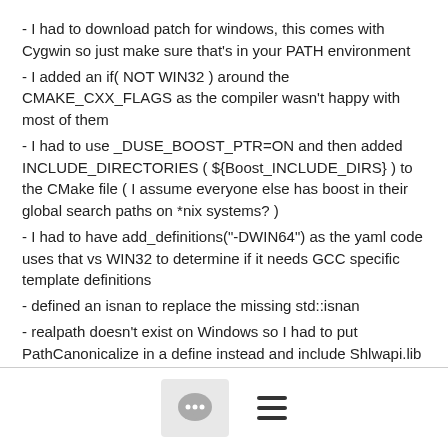- I had to download patch for windows, this comes with Cygwin so just make sure that's in your PATH environment
- I added an if( NOT WIN32 ) around the CMAKE_CXX_FLAGS as the compiler wasn't happy with most of them
- I had to use _DUSE_BOOST_PTR=ON and then added INCLUDE_DIRECTORIES ( ${Boost_INCLUDE_DIRS} ) to the CMake file ( I assume everyone else has boost in their global search paths on *nix systems? )
- I had to have add_definitions("-DWIN64") as the yaml code uses that vs WIN32 to determine if it needs GCC specific template definitions
- defined an isnan to replace the missing std::isnan
- realpath doesn't exist on Windows so I had to put PathCanonicalize in a define instead and include Shlwapi.lib
- fixed the cmake file as the yaml and tinyxml STATIC_LINK paths are explicitly pointing at *nix library names ( libtinyxml.a instead of tinyxml.lib )
[Figure (other): Page footer with a comment/chat bubble icon button and a hamburger menu icon]